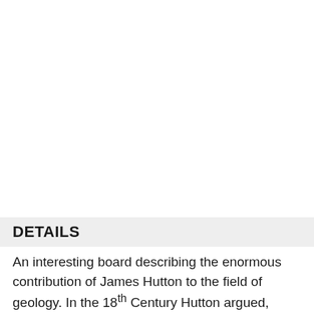DETAILS
An interesting board describing the enormous contribution of James Hutton to the field of geology. In the 18th Century Hutton argued, contrary to popular belief, that the Earth has been subject to a continual state of change (involving cycles of mountain building, volcanic